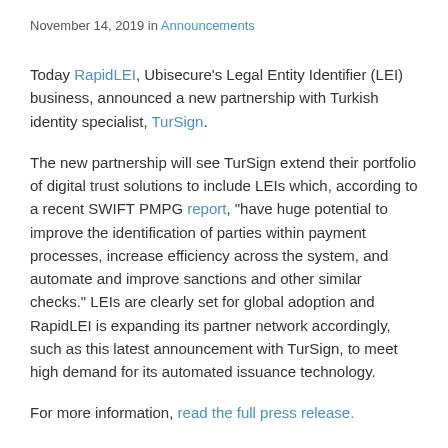November 14, 2019 in Announcements
Today RapidLEI, Ubisecure's Legal Entity Identifier (LEI) business, announced a new partnership with Turkish identity specialist, TurSign.
The new partnership will see TurSign extend their portfolio of digital trust solutions to include LEIs which, according to a recent SWIFT PMPG report, “have huge potential to improve the identification of parties within payment processes, increase efficiency across the system, and automate and improve sanctions and other similar checks.” LEIs are clearly set for global adoption and RapidLEI is expanding its partner network accordingly, such as this latest announcement with TurSign, to meet high demand for its automated issuance technology.
For more information, read the full press release.
Here’s what representatives of both companies had to say: